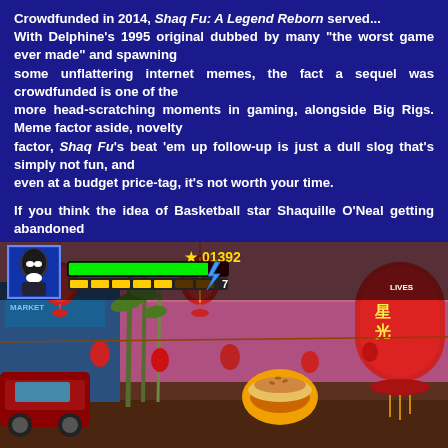Crowdfunded in 2014, Shaq Fu: A Legend Reborn served... With Delphine's 1995 original dubbed by many "the worst game ever made" and spawning some unflattering internet memes, the fact a sequel was crowdfunded is one of the more head-scratching moments in gaming, alongside Big Rigs. Meme factor aside, setting aside novelty factor, Shaq Fu's beat 'em up follow-up is just a dull slog that's simply not fun, and even at a budget price-tag, it's not worth your time.
If you think the idea of Basketball star Shaquille O'Neal getting abandoned as a baby, Shaq is found in a Chinese village and raised there, the monks train him in the art of combat. But things are soon turned on their head, with a story consisting of self-discovery and knocking out dozens of dated celebrity enemies, bad dialogue, unfunny jokes and painful attempts at breaking the fourth wall, with references to masturbation, racist stereotypes and fart jokes...
[Figure (screenshot): In-game screenshot of Shaq Fu: A Legend Reborn showing a Chinese street scene with red lanterns, a health bar UI at the top showing score 01392, character portrait, green health bar, and yellow energy squares.]